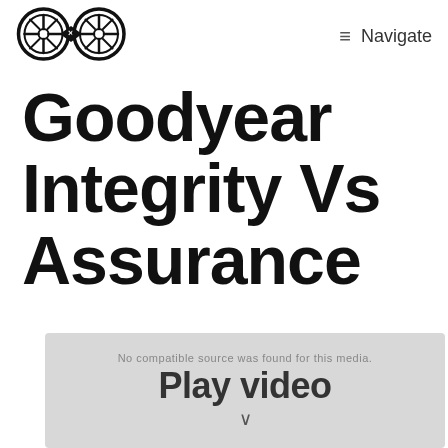Navigate
Goodyear Integrity Vs Assurance
[Figure (other): Video placeholder with text 'No compatible source was found for this media' and play button area]